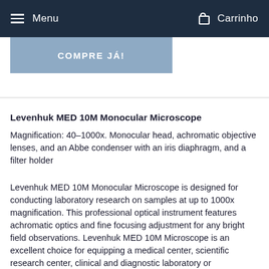Menu | Carrinho
COMPRE JÁ!
Levenhuk MED 10M Monocular Microscope
Magnification: 40–1000x. Monocular head, achromatic objective lenses, and an Abbe condenser with an iris diaphragm, and a filter holder
Levenhuk MED 10M Monocular Microscope is designed for conducting laboratory research on samples at up to 1000x magnification. This professional optical instrument features achromatic optics and fine focusing adjustment for any bright field observations. Levenhuk MED 10M Microscope is an excellent choice for equipping a medical center, scientific research center, clinical and diagnostic laboratory or microbiology department of a university.